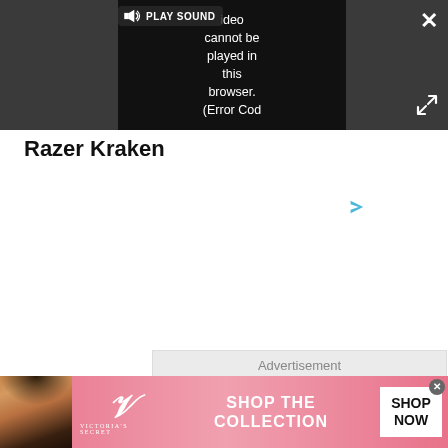[Figure (screenshot): Video player bar with dark background showing a video error message: 'Video cannot be played in this browser. (Error Cod' with a PLAY SOUND button, close X button, and expand/fullscreen icon.]
Razer Kraken
[Figure (other): Advertisement placeholder box with light gray background showing 'Advertisement' label and a small play/ad icon in the top-right corner.]
[Figure (other): Victoria's Secret banner advertisement with pink gradient background, model photo on left, VS logo, text 'SHOP THE COLLECTION', and 'SHOP NOW' white button.]